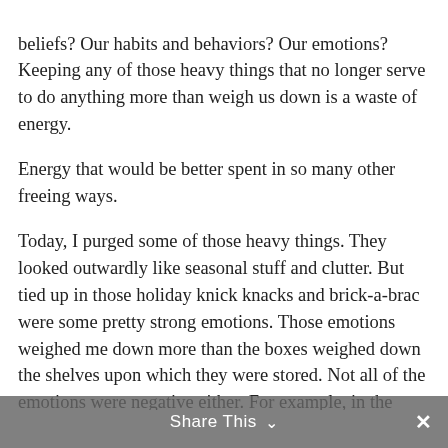beliefs? Our habits and behaviors? Our emotions? Keeping any of those heavy things that no longer serve to do anything more than weigh us down is a waste of energy.

Energy that would be better spent in so many other freeing ways.
Today, I purged some of those heavy things. They looked outwardly like seasonal stuff and clutter. But tied up in those holiday knick knacks and brick-a-brac were some pretty strong emotions. Those emotions weighed me down more than the boxes weighed down the shelves upon which they were stored. Not all of the emotions were negative either. For example, in the boxes I sorted today were many representatives of “firsts.” First high school graduation, first college graduation, first house. And there was forgiveness. Forgiveness to myself that I was parting with these things that no longer brought me joy and even
Share This